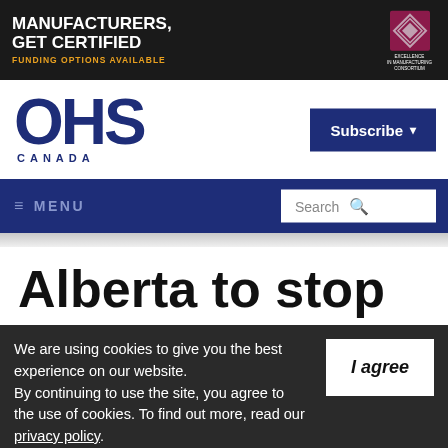[Figure (infographic): Advertisement banner: MANUFACTURERS, GET CERTIFIED with FUNDING OPTIONS AVAILABLE in orange, dark background with workers photo and diamond logo]
[Figure (logo): OHS Canada logo — large bold navy letters OHS with CANADA below in spaced caps]
Subscribe
≡ MENU
Search
Alberta to stop
We are using cookies to give you the best experience on our website. By continuing to use the site, you agree to the use of cookies. To find out more, read our privacy policy.
I agree